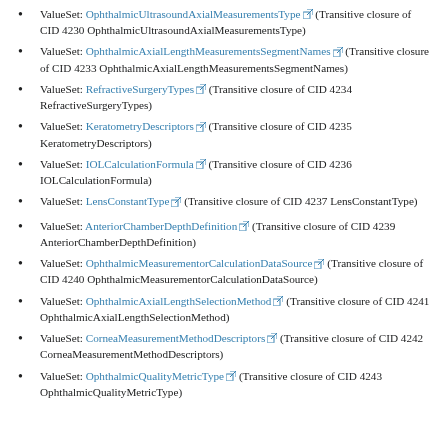ValueSet: OphthalmicUltrasoundAxialMeasurementsType (Transitive closure of CID 4230 OphthalmicUltrasoundAxialMeasurementsType)
ValueSet: OphthalmicAxialLengthMeasurementsSegmentNames (Transitive closure of CID 4233 OphthalmicAxialLengthMeasurementsSegmentNames)
ValueSet: RefractiveSurgeryTypes (Transitive closure of CID 4234 RefractiveSurgeryTypes)
ValueSet: KeratometryDescriptors (Transitive closure of CID 4235 KeratometryDescriptors)
ValueSet: IOLCalculationFormula (Transitive closure of CID 4236 IOLCalculationFormula)
ValueSet: LensConstantType (Transitive closure of CID 4237 LensConstantType)
ValueSet: AnteriorChamberDepthDefinition (Transitive closure of CID 4239 AnteriorChamberDepthDefinition)
ValueSet: OphthalmicMeasurementorCalculationDataSource (Transitive closure of CID 4240 OphthalmicMeasurementorCalculationDataSource)
ValueSet: OphthalmicAxialLengthSelectionMethod (Transitive closure of CID 4241 OphthalmicAxialLengthSelectionMethod)
ValueSet: CorneaMeasurementMethodDescriptors (Transitive closure of CID 4242 CorneaMeasurementMethodDescriptors)
ValueSet: OphthalmicQualityMetricType (Transitive closure of CID 4243 OphthalmicQualityMetricType)